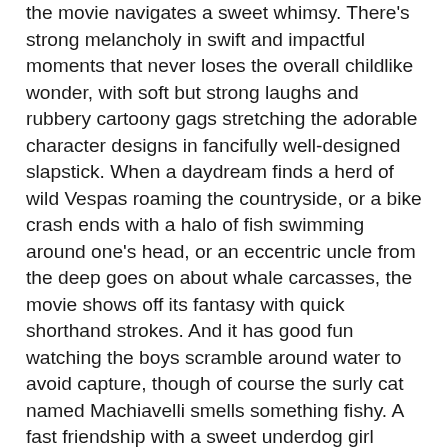the movie navigates a sweet whimsy. There's strong melancholy in swift and impactful moments that never loses the overall childlike wonder, with soft but strong laughs and rubbery cartoony gags stretching the adorable character designs in fancifully well-designed slapstick. When a daydream finds a herd of wild Vespas roaming the countryside, or a bike crash ends with a halo of fish swimming around one's head, or an eccentric uncle from the deep goes on about whale carcasses, the movie shows off its fantasy with quick shorthand strokes. And it has good fun watching the boys scramble around water to avoid capture, though of course the surly cat named Machiavelli smells something fishy. A fast friendship with a sweet underdog girl (Emma Berman) is a good sign; that her dad is a one-armed fisherman is maybe less so.
The consistent charming invention on display always returns to the boys' shifting emotions, plugged into their perspective to an attentive and sensitive degree. Despite potential dangers and disappointments, the movie keeps things in perspective. This sunny and well-paced movie is always tenderly attuned to the dynamics of friendships, with the